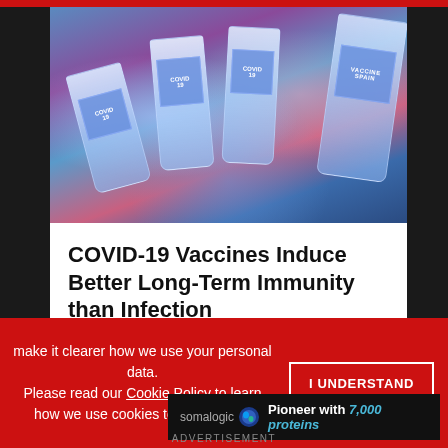[Figure (photo): Close-up photo of multiple COVID-19 vaccine vials with blue/purple tones]
COVID-19 Vaccines Induce Better Long-Term Immunity than Infection
Article
[Figure (logo): Research+ Resources logo]
make it clearer how we use your personal data. Please read our Cookie Policy to learn how we use cookies to provide you
I UNDERSTAND
[Figure (photo): Partial view of second article image with blue tones (blurred)]
Pioneer with 7,000 proteins
ADVERTISEMENT